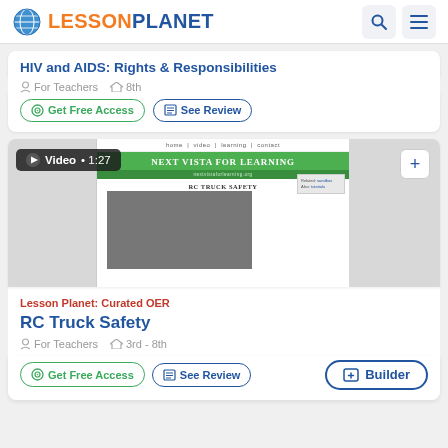Lesson Planet
HIV and AIDS: Rights & Responsibilities
For Teachers  8th
Get Free Access  See Review
[Figure (screenshot): Video thumbnail showing Next Vista for Learning website with RC Truck Safety page. Video duration: 1:27]
Lesson Planet: Curated OER
RC Truck Safety
For Teachers  3rd - 8th
Get Free Access  See Review  Builder